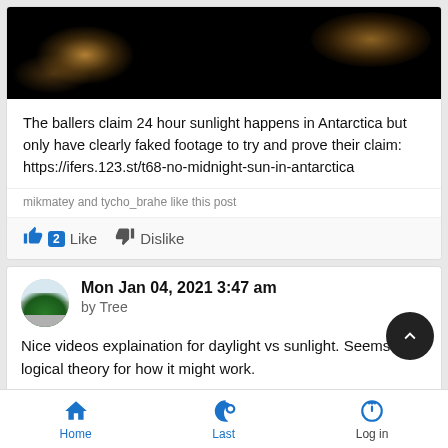[Figure (photo): Dark night sky image with glowing orange/amber light sources, partially cropped at top]
The ballers claim 24 hour sunlight happens in Antarctica but only have clearly faked footage to try and prove their claim: https://ifers.123.st/t68-no-midnight-sun-in-antarctica
mikmatey and tycho_brahe like this post
👍 2 Like  👎 Dislike
Mon Jan 04, 2021 3:47 am
by Tree
Nice videos explaination for daylight vs sunlight. Seems like logical theory for how it might work.
Home   Last   Log in